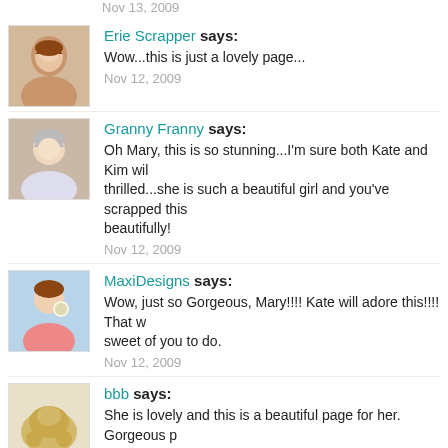Nov 13, 2009
Erie Scrapper says: Wow...this is just a lovely page... Nov 12, 2009
Granny Franny says: Oh Mary, this is so stunning...I'm sure both Kate and Kim will be thrilled...she is such a beautiful girl and you've scrapped this beautifully! Nov 12, 2009
MaxiDesigns says: Wow, just so Gorgeous, Mary!!!! Kate will adore this!!!! That was so sweet of you to do. Nov 12, 2009
bbb says: She is lovely and this is a beautiful page for her. Gorgeous p Nov 12, 2009
marielleron says: gorgeous page for a gorgeous young lady! Nov 12, 2009
Mimi_ says: wonderful! Nov 12, 2009
Sacha0606 says: Fabulous page,Mary! Nov 12, 2009